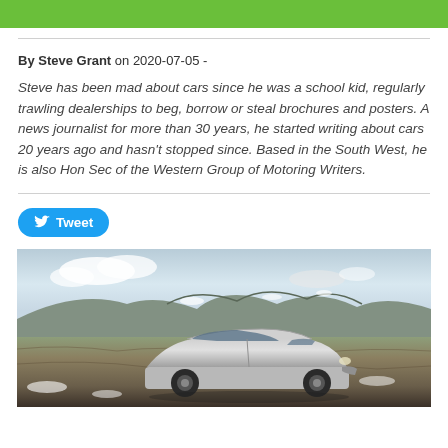By Steve Grant on 2020-07-05 -
Steve has been mad about cars since he was a school kid, regularly trawling dealerships to beg, borrow or steal brochures and posters. A news journalist for more than 30 years, he started writing about cars 20 years ago and hasn't stopped since. Based in the South West, he is also Hon Sec of the Western Group of Motoring Writers.
[Figure (other): Tweet button - Twitter share button with bird logo]
[Figure (photo): A silver/white car parked in a moorland landscape with rocky hills in the background under a cloudy sky with patches of snow on the ground]